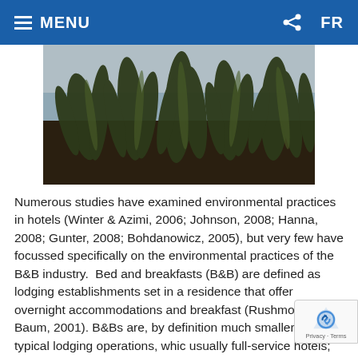MENU   FR
[Figure (photo): Outdoor photo of tall grass or reeds with a blurred background showing a beach or shoreline and sky.]
Numerous studies have examined environmental practices in hotels (Winter & Azimi, 2006; Johnson, 2008; Hanna, 2008; Gunter, 2008; Bohdanowicz, 2005), but very few have focussed specifically on the environmental practices of the B&B industry.  Bed and breakfasts (B&B) are defined as lodging establishments set in a residence that offer overnight accommodations and breakfast (Rushmore & Baum, 2001). B&Bs are, by definition much smaller than typical lodging operations, whic usually full-service hotels; however, the B.C. Minis the Environment in 2007 found that residential and